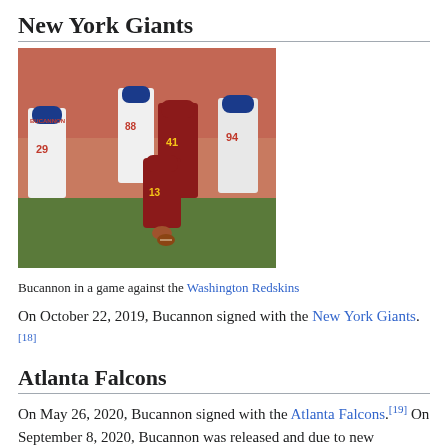New York Giants
[Figure (photo): Bucannon in a game against the Washington Redskins; football players on field, Bucannon wearing dark red jersey number 13, Giants players in white jerseys and blue helmets]
Bucannon in a game against the Washington Redskins
On October 22, 2019, Bucannon signed with the New York Giants.[18]
Atlanta Falcons
On May 26, 2020, Bucannon signed with the Atlanta Falcons.[19] On September 8, 2020, Bucannon was released and due to new COVID-19 roster management rules, was re-signed to the practice